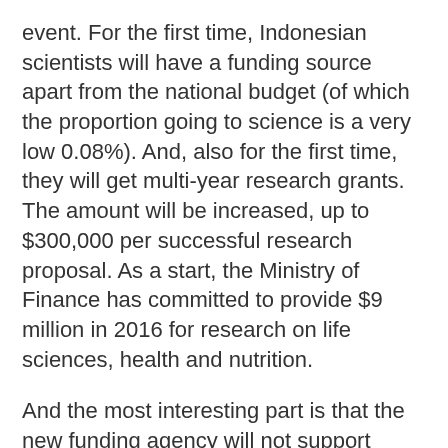event. For the first time, Indonesian scientists will have a funding source apart from the national budget (of which the proportion going to science is a very low 0.08%). And, also for the first time, they will get multi-year research grants. The amount will be increased, up to $300,000 per successful research proposal. As a start, the Ministry of Finance has committed to provide $9 million in 2016 for research on life sciences, health and nutrition.
And the most interesting part is that the new funding agency will not support applied science. Instead it will pay for 'frontier research' on the Universe, Earth, climate, the life sciences, health, nutrition, materials and computational science.
The new programme might encourage the best Indonesian scientists scattered across the developed world to come back. It should encourage those in Indonesia to do better science. It will certainly grow scientific excellence